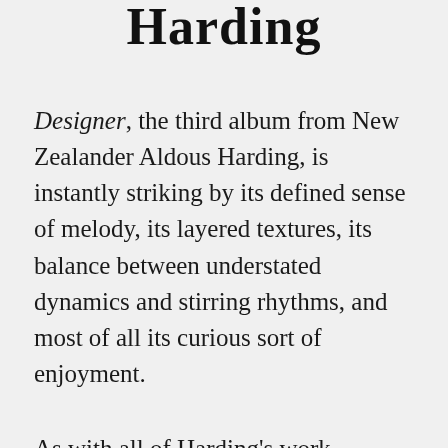Harding
Designer, the third album from New Zealander Aldous Harding, is instantly striking by its defined sense of melody, its layered textures, its balance between understated dynamics and stirring rhythms, and most of all its curious sort of enjoyment.
As with all of Harding’s work, nothing is quite as it seems, and with every smile a grimace shortly follows (as her videos for the album campaign perfectly demonstrated). But listening to the glowing